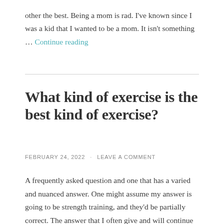other the best. Being a mom is rad. I've known since I was a kid that I wanted to be a mom. It isn't something … Continue reading
What kind of exercise is the best kind of exercise?
FEBRUARY 24, 2022  ·  LEAVE A COMMENT
A frequently asked question and one that has a varied and nuanced answer. One might assume my answer is going to be strength training, and they'd be partially correct. The answer that I often give and will continue to stand by regarding this question is– The best kind of